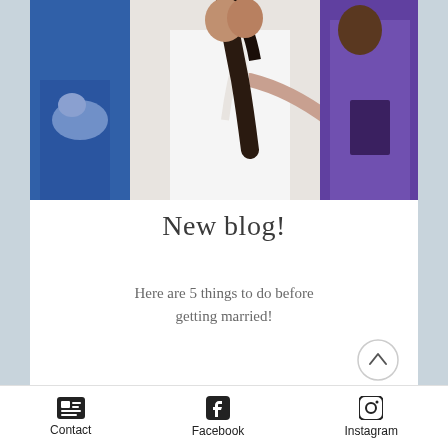[Figure (photo): Wedding photo showing bride and groom embracing, with a bridesmaid in a blue dress and a person in purple robes visible on the sides]
New blog!
Here are 5 things to do before getting married!
contact54262 👑
May 10, 2019 · 3 min
Contact  Facebook  Instagram